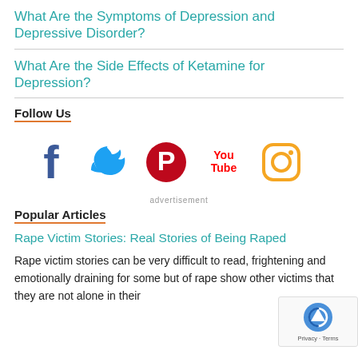What Are the Symptoms of Depression and Depressive Disorder?
What Are the Side Effects of Ketamine for Depression?
Follow Us
[Figure (infographic): Social media icons: Facebook, Twitter, Pinterest, YouTube, Instagram]
advertisement
Popular Articles
Rape Victim Stories: Real Stories of Being Raped
Rape victim stories can be very difficult to read, frightening and emotionally draining for some but of rape show other victims that they are not alone in their